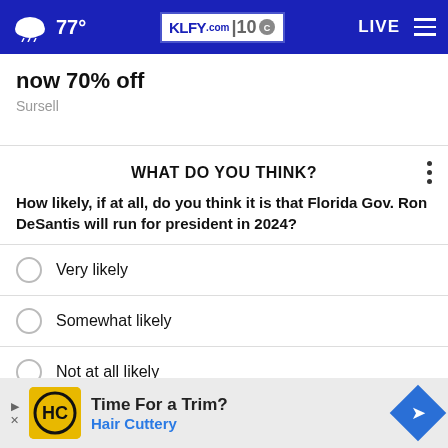77° KLFY.com 10 LIVE
now 70% off
Sursell
WHAT DO YOU THINK?
How likely, if at all, do you think it is that Florida Gov. Ron DeSantis will run for president in 2024?
Very likely
Somewhat likely
Not at all likely
Other / No opinion
Time For a Trim? Hair Cuttery